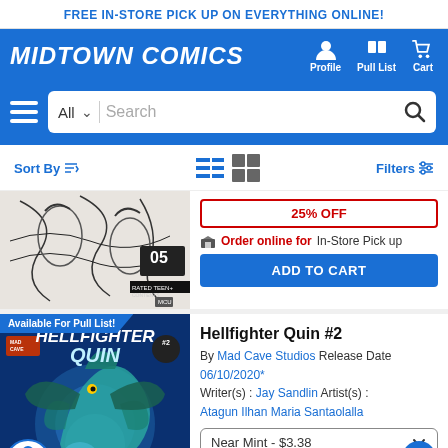FREE IN-STORE PICK UP ON EVERYTHING ONLINE!
[Figure (logo): Midtown Comics logo in white italic bold text on blue background with Profile, Pull List, Cart navigation icons]
[Figure (screenshot): Search bar with hamburger menu, All category dropdown, Search input field and search icon button]
Sort By
Filters
[Figure (photo): Comic book cover image black and white manga style with number 05, rated teen]
25% OFF
Order online for In-Store Pick up
ADD TO CART
Available For Pull List!
[Figure (photo): Hellfighter Quin #2 comic book cover with blue-green dragon creature on blue background]
Hellfighter Quin #2
By Mad Cave Studios Release Date 06/10/2020* Writer(s) : Jay Sandlin Artist(s) : Atagun Ilhan Maria Santaolalla
Near Mint - $3.38
$4.59